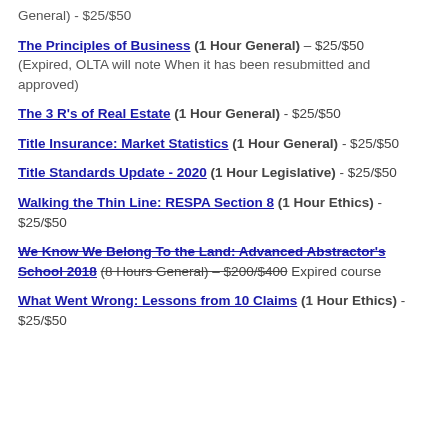General) - $25/$50
The Principles of Business (1 Hour General) – $25/$50 (Expired, OLTA will note When it has been resubmitted and approved)
The 3 R's of Real Estate (1 Hour General) - $25/$50
Title Insurance: Market Statistics (1 Hour General) - $25/$50
Title Standards Update - 2020 (1 Hour Legislative) - $25/$50
Walking the Thin Line: RESPA Section 8 (1 Hour Ethics) - $25/$50
We Know We Belong To the Land: Advanced Abstractor's School 2018 (8 Hours General) – $200/$400 Expired course
What Went Wrong: Lessons from 10 Claims (1 Hour Ethics) - $25/$50